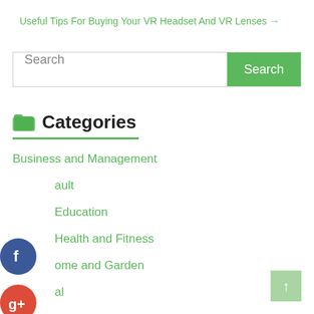Useful Tips For Buying Your VR Headset And VR Lenses →
Search
Categories
Business and Management
Default
Education
Health and Fitness
Home and Garden
Legal
Marketing and Advertising
Pets